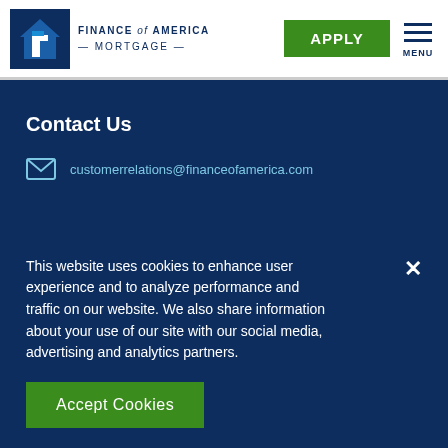[Figure (logo): Finance of America Mortgage logo with house icon on dark blue background]
FINANCE of AMERICA — MORTGAGE — | APPLY | MENU
Contact Us
customerrelations@financeofamerica.com
This website uses cookies to enhance user experience and to analyze performance and traffic on our website. We also share information about your use of our site with our social media, advertising and analytics partners.
Accept Cookies